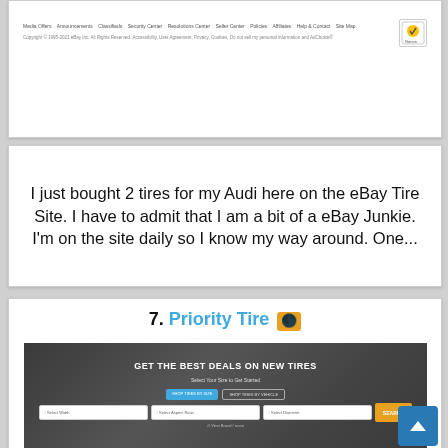[Figure (screenshot): Website footer screenshot showing navigation links and copyright text with Norton security badge]
I just bought 2 tires for my Audi here on the eBay Tire Site. I have to admit that I am a bit of a eBay Junkie. I'm on the site daily so I know my way around. One...
7. Priority Tire 🔋
[Figure (screenshot): Priority Tire website screenshot showing 'GET THE BEST DEALS ON NEW TIRES' headline with tire size search interface and SEARCH button]